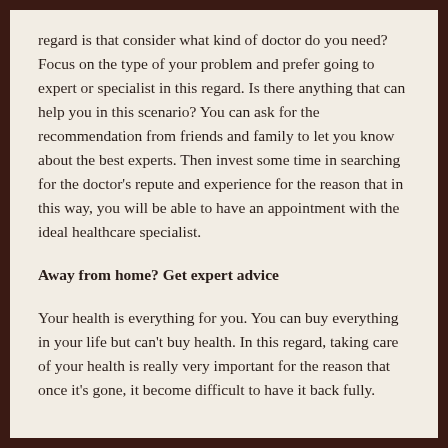regard is that consider what kind of doctor do you need? Focus on the type of your problem and prefer going to expert or specialist in this regard. Is there anything that can help you in this scenario? You can ask for the recommendation from friends and family to let you know about the best experts. Then invest some time in searching for the doctor's repute and experience for the reason that in this way, you will be able to have an appointment with the ideal healthcare specialist.
Away from home? Get expert advice
Your health is everything for you. You can buy everything in your life but can't buy health. In this regard, taking care of your health is really very important for the reason that once it's gone, it become difficult to have it back fully.